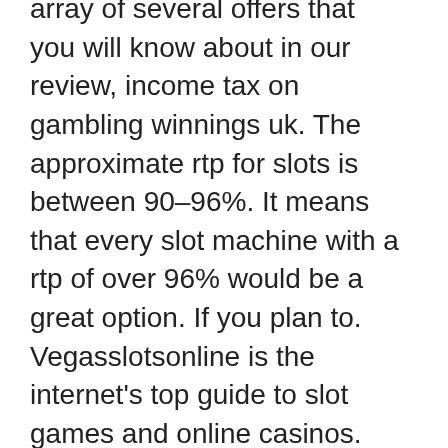array of several offers that you will know about in our review, income tax on gambling winnings uk. The approximate rtp for slots is between 90–96%. It means that every slot machine with a rtp of over 96% would be a great option. If you plan to. Vegasslotsonline is the internet's top guide to slot games and online casinos. Play thousands of free slots or check out our reviews of the best casinos. The best slot games are book of dead, bonanza, wolf god, sweet bonanza, big bass bonanza, primate king and many other games that are best for the slot games to. Free 5,000,000 in-game coins as a welcome bonus is the best way to start off in a free slot machine game! welcome to infinity slots ;-); get the taste of las. Gambling enthusiasts love to play slots, evident by the increasing demand for more slot machines in casinos across the country. They are modeled after brick-and-mortar machines but for internet play. You'll find real money slot games at